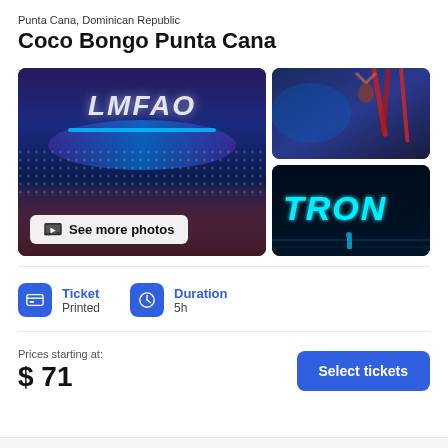Punta Cana, Dominican Republic
Coco Bongo Punta Cana
[Figure (photo): Main photo of Coco Bongo nightclub showing LMFAO performance on stage with crowd]
[Figure (photo): Aerial acrobatics performance with red silks]
[Figure (photo): Tron-themed neon light show]
Ticket
Printed
Duration
5h
Prices starting at:
$ 71
Select tickets